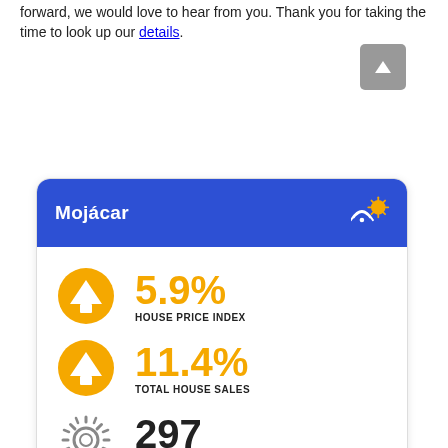forward, we would love to hear from you. Thank you for taking the time to look up our details.
[Figure (infographic): Mojácar location infographic card showing: House Price Index up 5.9%, Total House Sales up 11.4%, Dry Days Per Year 297, Total Population 6.3k. Blue header with sun/weather icon. Orange arrow-up icons for the percentage stats, grey sun icon for dry days, grey person icon for population.]